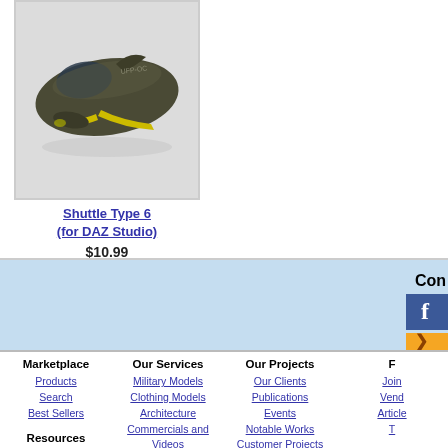[Figure (photo): 3D rendered image of a sci-fi shuttle spacecraft, dark olive/green color with yellow accents, viewed from above-front angle on a light gray background]
Shuttle Type 6 (for DAZ Studio)
$10.99
[Figure (screenshot): Social media connect section with light blue background, showing partial 'Con' text label, a Facebook button (blue with 'f'), and an orange arrow/chevron button]
Marketplace
Products
Search
Best Sellers
Resources
Marketplace Questions
Brokered Artist Benefits
Merchant Resources
Product Guidelines
Product Checklist
Our Services
Military Models
Clothing Models
Architecture
Commercials and Videos
Interior Sets
Humans and Creatures
Rendering
Our Projects
Our Clients
Publications
Events
Notable Works
Customer Projects
F [partially visible column]
Join...
Vend...
Article...
T...
Links...
Curre...
Terms of...